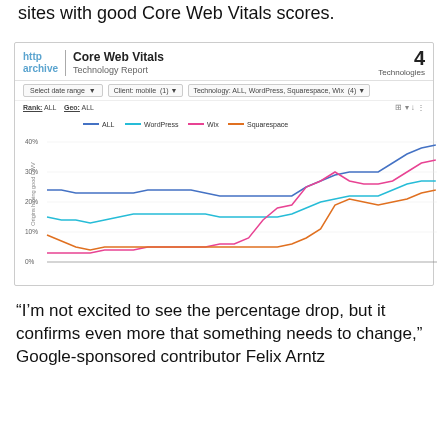sites with good Core Web Vitals scores.
[Figure (line-chart): Core Web Vitals Technology Report]
“I’m not excited to see the percentage drop, but it confirms even more that something needs to change,” Google-sponsored contributor Felix Arntz